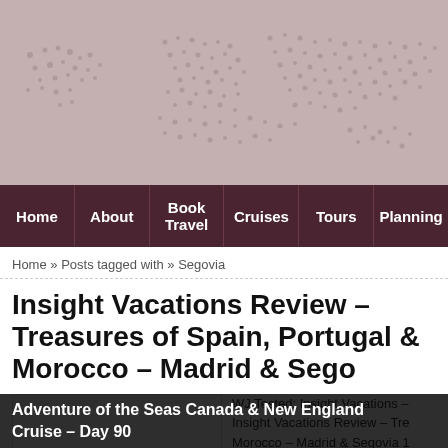[Figure (illustration): Dotted world map header image in pinkish-beige/mauve tones]
Home | About | Book Travel | Cruises | Tours | Planning
Home » Posts tagged with » Segovia
Insight Vacations Review – Treasures of Spain, Portugal & Morocco – Madrid & Segovia
[Figure (photo): Travel photo placeholder (white box with border)]
WJ Tested: Insight Vacations – Insight Vacations Review – Treasures of Spain, Portugal & Morocco – Madrid & Segovia 1... did Our first day in Portugal &
Adventure of the Seas Canada & New England Cruise – Day 90